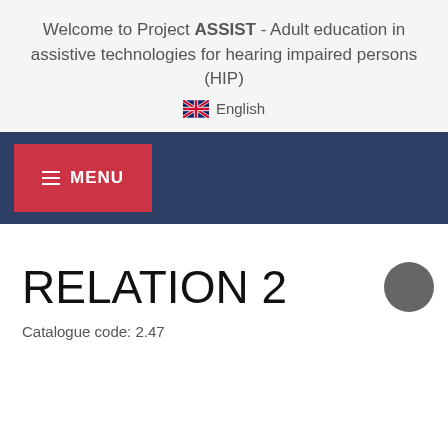Welcome to Project ASSIST - Adult education in assistive technologies for hearing impaired persons (HIP)
English
[Figure (screenshot): Navy navigation bar with red MENU button containing hamburger icon]
RELATION 2
Catalogue code: 2.47